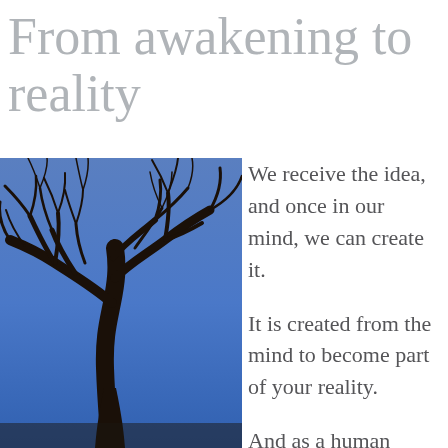From awakening to reality
[Figure (photo): A bare-branched tree silhouetted against a blue sky, photographed from below looking upward, showing dark intricate branch patterns against a gradient blue background.]
We receive the idea, and once in our mind, we can create it.
It is created from the mind to become part of your reality.
And as a human